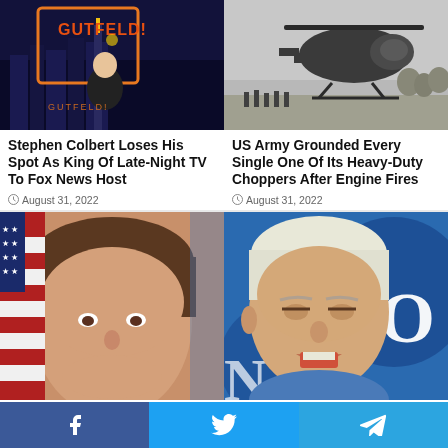[Figure (photo): Greg Gutfeld on the Gutfeld! show set with city skyline backdrop]
[Figure (photo): Black and white photo of US Army helicopter with soldiers]
Stephen Colbert Loses His Spot As King Of Late-Night TV To Fox News Host
August 31, 2022
US Army Grounded Every Single One Of Its Heavy-Duty Choppers After Engine Fires
August 31, 2022
[Figure (photo): Ron DeSantis smiling with American flag in background]
[Figure (photo): Joe Biden at an event with blue backdrop]